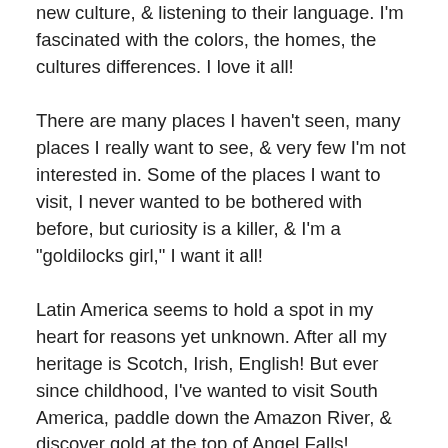new culture, & listening to their language. I'm fascinated with the colors, the homes, the cultures differences. I love it all!
There are many places I haven't seen, many places I really want to see, & very few I'm not interested in. Some of the places I want to visit, I never wanted to be bothered with before, but curiosity is a killer, & I'm a "goldilocks girl," I want it all!
Latin America seems to hold a spot in my heart for reasons yet unknown. After all my heritage is Scotch, Irish, English! But ever since childhood, I've wanted to visit South America, paddle down the Amazon River, & discover gold at the top of Angel Falls!
Does that sound like a dreamer to you? Or just a kid with